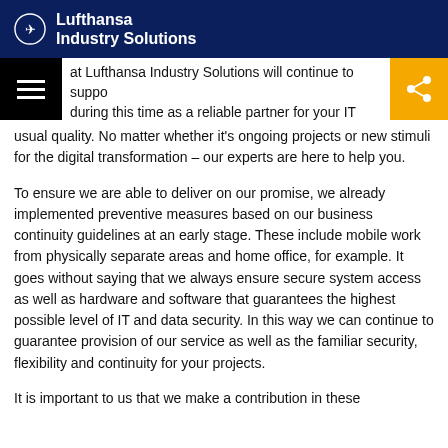Lufthansa Industry Solutions
at Lufthansa Industry Solutions will continue to support during this time as a reliable partner for your IT projects providing continued services and individual solutions in the usual quality. No matter whether it's ongoing projects or new stimuli for the digital transformation – our experts are here to help you.
To ensure we are able to deliver on our promise, we already implemented preventive measures based on our business continuity guidelines at an early stage. These include mobile work from physically separate areas and home office, for example. It goes without saying that we always ensure secure system access as well as hardware and software that guarantees the highest possible level of IT and data security. In this way we can continue to guarantee provision of our service as well as the familiar security, flexibility and continuity for your projects.
It is important to us that we make a contribution in these